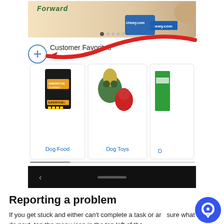[Figure (screenshot): Mobile app screenshot of Chewy.com showing a banner ad with 'Forward' text and a dog/cat, a 'Customer Favorites' section with a circled plus icon, a red arrow pointing to the plus icon, and product cards for Dog Food, Dog Toys, and a partially visible third item. A black phone navigation bar is at the bottom of the screenshot.]
Reporting a problem
If you get stuck and either can't complete a task or are sure what to do next, tap the menu icon in the top left of the